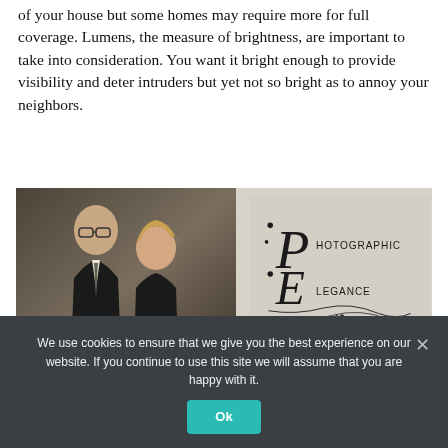of your house but some homes may require more for full coverage. Lumens, the measure of brightness, are important to take into consideration. You want it bright enough to provide visibility and deter intruders but yet not so bright as to annoy your neighbors.
[Figure (photo): Advertisement for Photographic Elegance photography studio. Left side shows photo of Doug & Sandy Harrison, Owners (a man and woman in formal attire). Right side shows the Photographic Elegance logo with decorative script lettering and contact info: Mint Hill 704.598.9099]
We use cookies to ensure that we give you the best experience on our website. If you continue to use this site we will assume that you are happy with it.